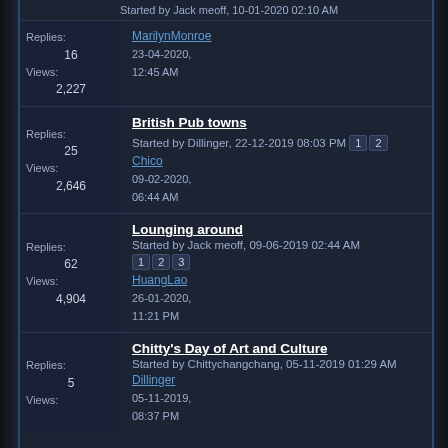Started by Jack meoff, 10-01-2020 02:10 AM
Thread: MarilynMonroe | Replies: 16 | Views: 2,227 | Last post: 23-04-2020, 12:45 AM
British Pub towns | Started by Dillinger, 22-12-2019 08:03 PM | Pages: 1 2 | Replies: 25 | Views: 2,646 | Last post by Chico: 09-02-2020, 06:44 AM
Lounging around | Started by Jack meoff, 09-06-2019 02:44 AM | Pages: 1 2 3 | Replies: 62 | Views: 4,904 | Last post by HuangLao: 26-01-2020, 11:21 PM
Chitty's Day of Art and Culture | Started by Chittychangchang, 05-11-2019 01:29 AM | Replies: 5 | Views: (partial) | Last post by Dillinger: 05-11-2019, 08:37 PM